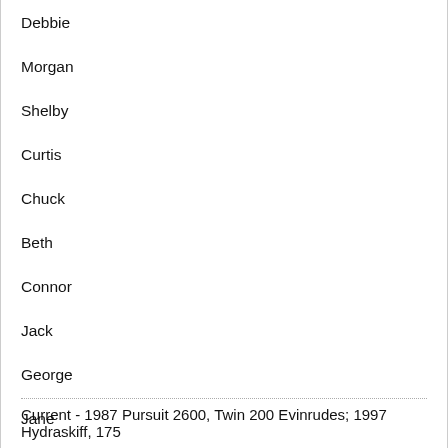Debbie
Morgan
Shelby
Curtis
Chuck
Beth
Connor
Jack
George
Jane
Current - 1987 Pursuit 2600, Twin 200 Evinrudes; 1997 Hydraskiff, 175